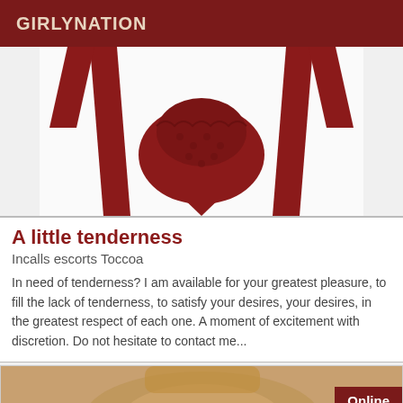GIRLYNATION
[Figure (photo): Red lace lingerie item with red ribbons on a white background]
A little tenderness
Incalls escorts Toccoa
In need of tenderness? I am available for your greatest pleasure, to fill the lack of tenderness, to satisfy your desires, your desires, in the greatest respect of each one. A moment of excitement with discretion. Do not hesitate to contact me...
[Figure (photo): Partial photo of a woman with Online badge in dark red]